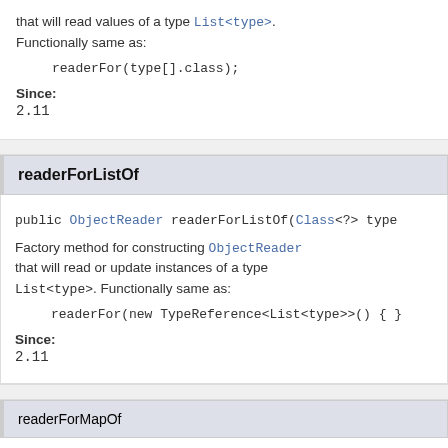that will read values of a type List<type>. Functionally same as:
Since:
2.11
readerForListOf
public ObjectReader readerForListOf(Class<?> type
Factory method for constructing ObjectReader that will read or update instances of a type List<type>. Functionally same as:
Since:
2.11
readerForMapOf